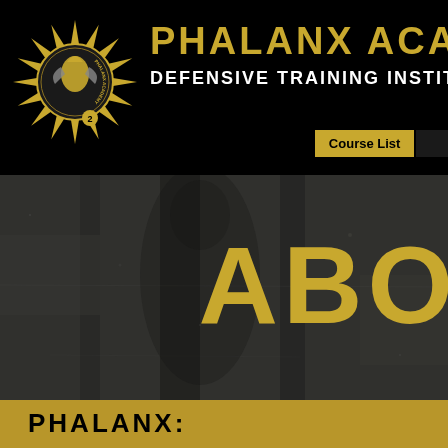[Figure (logo): Phalanx Academy emblem logo — circular badge with sun/spike rays surrounding a central helmeted warrior figure, with text 'PHALANX ACADEMY' around the inner ring]
PHALANX ACADEMY DEFENSIVE TRAINING INSTITU[TE]
Course List
ABO[UT]
PHALANX: